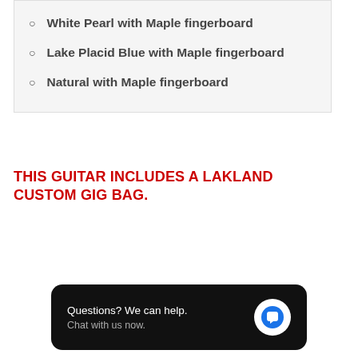White Pearl with Maple fingerboard
Lake Placid Blue with Maple fingerboard
Natural with Maple fingerboard
THIS GUITAR INCLUDES A LAKLAND CUSTOM GIG BAG.
Questions? We can help. Chat with us now.